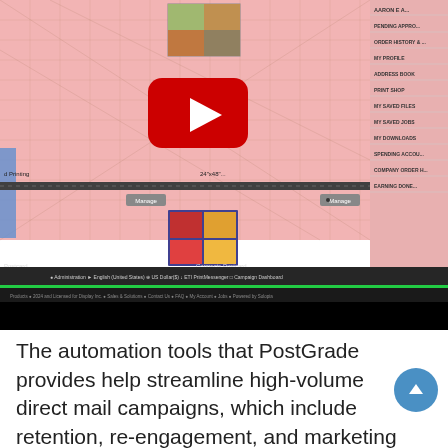[Figure (screenshot): Screenshot of a print shop web application showing a pink-themed interface with product thumbnails, navigation menus, a YouTube play button overlay, a green progress bar, and a dark bottom bar with administration options.]
The automation tools that PostGrade provides help streamline high-volume direct mail campaigns, which include retention, re-engagement, and marketing